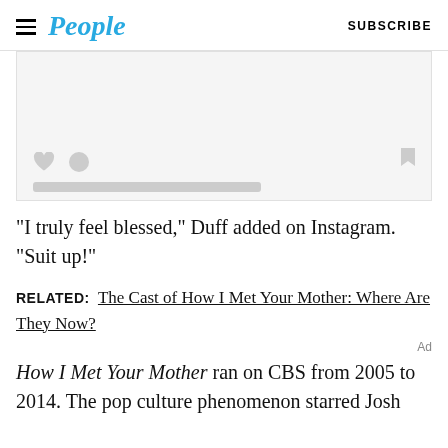People | SUBSCRIBE
[Figure (screenshot): Social media embed placeholder with heart icon, comment bubble icon, bookmark icon, and a gray bar at the bottom]
“I truly feel blessed,” Duff added on Instagram. “Suit up!”
RELATED: The Cast of How I Met Your Mother: Where Are They Now?
Ad
How I Met Your Mother ran on CBS from 2005 to 2014. The pop culture phenomenon starred Josh